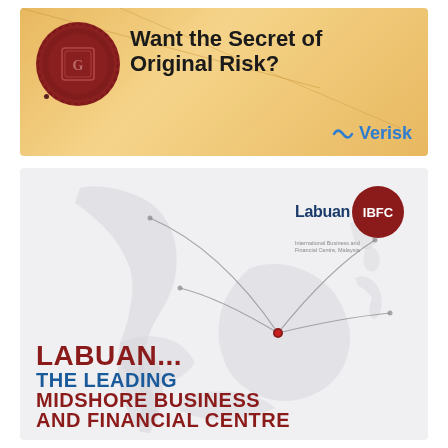[Figure (illustration): Advertisement banner with sandy/golden envelope background, red wax seal on left, bold text 'Want the Secret of Original Risk?' and Verisk logo in blue on bottom right]
[Figure (illustration): Labuan IBFC advertisement showing a light grey map of Southeast Asia with curved lines radiating from a central red dot (Labuan), Labuan IBFC logo top right, and bold text at bottom: 'LABUAN... THE LEADING MIDSHORE BUSINESS AND FINANCIAL CENTRE']